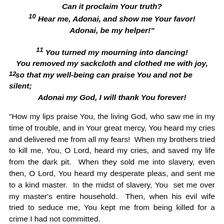Can it proclaim Your truth? [10] Hear me, Adonai, and show me Your favor! Adonai, be my helper!" [11] You turned my mourning into dancing! You removed my sackcloth and clothed me with joy, [12] so that my well-being can praise You and not be silent; Adonai my God, I will thank You forever!
"How my lips praise You, the living God, who saw me in my time of trouble, and in Your great mercy, You heard my cries and delivered me from all my fears! When my brothers tried to kill me, You, O Lord, heard my cries, and saved my life from the dark pit. When they sold me into slavery, even then, O Lord, You heard my desperate pleas, and sent me to a kind master. In the midst of slavery, You set me over my master’s entire household. Then, when his evil wife tried to seduce me, You kept me from being killed for a crime I had not committed.